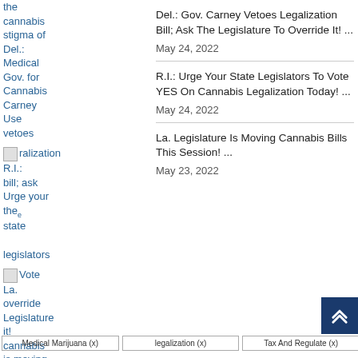the cannabis stigma of Del.: Gov. Medical Gov. for Cannabis Carney Use vetoes
Del.: Gov. Carney Vetoes Legalization Bill; Ask The Legislature To Override It! ... May 24, 2022
R.I.: legalization bill; ask Urge your the state legislators Vote override it! legalization today!
R.I.: Urge Your State Legislators To Vote YES On Cannabis Legalization Today! ... May 24, 2022
La. Legislature is moving cannabis bills this session.
La. Legislature Is Moving Cannabis Bills This Session! ... May 23, 2022
Tags
Medical Marijuana (x) | legalization (x) | Tax And Regulate (x)